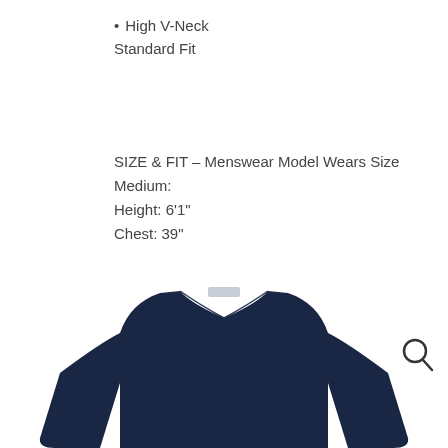High V-Neck
Standard Fit
SIZE & FIT – Menswear Model Wears Size Medium:
Height: 6'1"
Chest: 39"
Waist: 31"
[Figure (photo): Navy blue high V-neck standard fit sweater displayed from the chest up, with a magnifying glass/search icon in the upper right of the image area.]